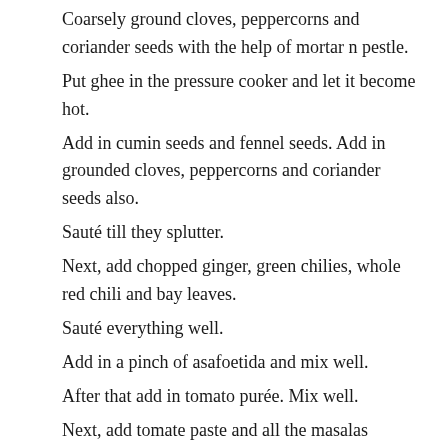Coarsely ground cloves, peppercorns and coriander seeds with the help of mortar n pestle.
Put ghee in the pressure cooker and let it become hot.
Add in cumin seeds and fennel seeds. Add in grounded cloves, peppercorns and coriander seeds also.
Sauté till they splutter.
Next, add chopped ginger, green chilies, whole red chili and bay leaves.
Sauté everything well.
Add in a pinch of asafoetida and mix well.
After that add in tomato purée. Mix well.
Next, add tomate paste and all the masalas powders- red chili powder, turmeric, garam masala and coriander powder.
Give it a good mix.
Sauté for 3-4 minutes or more on a low to medium